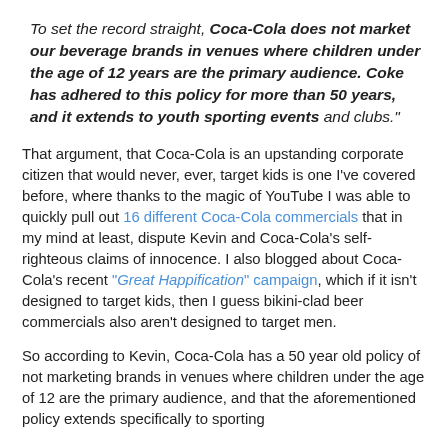To set the record straight, Coca-Cola does not market our beverage brands in venues where children under the age of 12 years are the primary audience. Coke has adhered to this policy for more than 50 years, and it extends to youth sporting events and clubs."
That argument, that Coca-Cola is an upstanding corporate citizen that would never, ever, target kids is one I've covered before, where thanks to the magic of YouTube I was able to quickly pull out 16 different Coca-Cola commercials that in my mind at least, dispute Kevin and Coca-Cola's self-righteous claims of innocence. I also blogged about Coca-Cola's recent "Great Happification" campaign, which if it isn't designed to target kids, then I guess bikini-clad beer commercials also aren't designed to target men.
So according to Kevin, Coca-Cola has a 50 year old policy of not marketing brands in venues where children under the age of 12 are the primary audience, and that the aforementioned policy extends specifically to sporting events. If that the case, Kevin, let's have a think about...